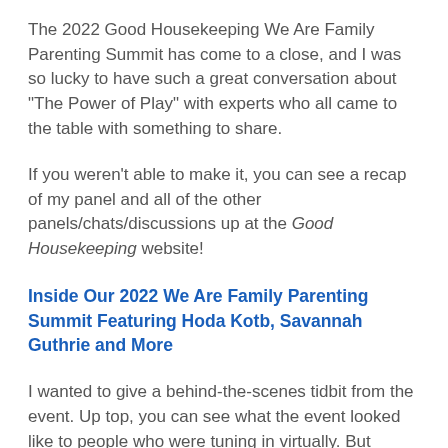The 2022 Good Housekeeping We Are Family Parenting Summit has come to a close, and I was so lucky to have such a great conversation about "The Power of Play" with experts who all came to the table with something to share.
If you weren't able to make it, you can see a recap of my panel and all of the other panels/chats/discussions up at the Good Housekeeping website!
Inside Our 2022 We Are Family Parenting Summit Featuring Hoda Kotb, Savannah Guthrie and More
I wanted to give a behind-the-scenes tidbit from the event. Up top, you can see what the event looked like to people who were tuning in virtually. But here's what no one saw: